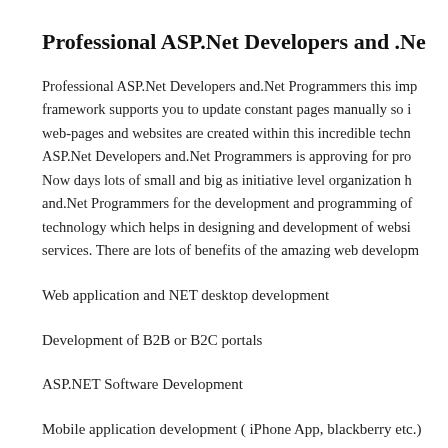Professional ASP.Net Developers and .Ne
Professional ASP.Net Developers and.Net Programmers this imp framework supports you to update constant pages manually so i web-pages and websites are created within this incredible techn ASP.Net Developers and.Net Programmers is approving for pro Now days lots of small and big as initiative level organization h and.Net Programmers for the development and programming of technology which helps in designing and development of websi services. There are lots of benefits of the amazing web developm
Web application and NET desktop development
Development of B2B or B2C portals
ASP.NET Software Development
Mobile application development ( iPhone App, blackberry etc.)